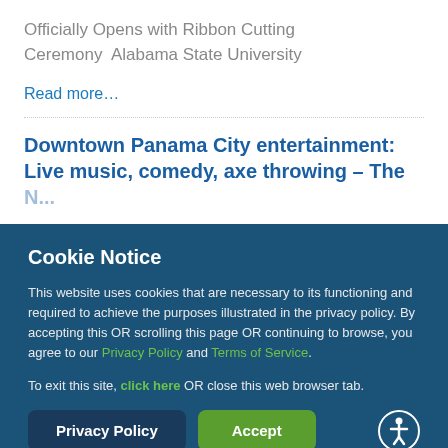Officially Opens with Ribbon Cutting Ceremony  Alabama State University
Read more...
Downtown Panama City entertainment: Live music, comedy, axe throwing - The ...
Cookie Notice
This website uses cookies that are necessary to its functioning and required to achieve the purposes illustrated in the privacy policy. By accepting this OR scrolling this page OR continuing to browse, you agree to our Privacy Policy and Terms of Service.
To exit this site, click here OR close this web browser tab.